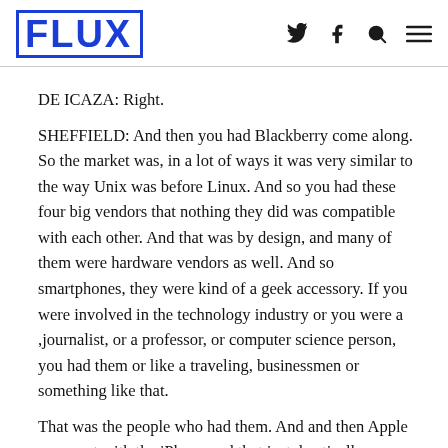FLUX
DE ICAZA: Right.
SHEFFIELD: And then you had Blackberry come along. So the market was, in a lot of ways it was very similar to the way Unix was before Linux. And so you had these four big vendors that nothing they did was compatible with each other. And that was by design, and many of them were hardware vendors as well. And so smartphones, they were kind of a geek accessory. If you were involved in the technology industry or you were a ,journalist, or a professor, or computer science person, you had them or like a traveling, businessmen or something like that.
That was the people who had them. And and then Apple came out with the iPhone and that just drastically changed the phone market forever. And around that time when the iPhone, the iPhone came out in 2007. And so, but while it was under wraps, Google was also